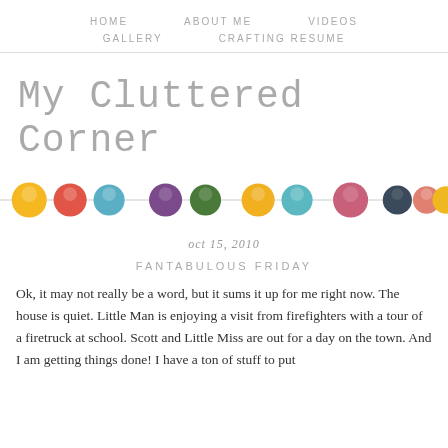HOME  ABOUT ME  VIDEOS  GALLERY  CRAFTING RESUME
My Cluttered Corner
[Figure (illustration): A decorative row of colorful felted wool balls/beads in various colors including yellow, red, teal, purple, green, orange, teal, pink, dark/navy, coral, and yellow, connected by a thin string.]
oct 15, 2010
FANTABULOUS FRIDAY
Ok, it may not really be a word, but it sums it up for me right now. The house is quiet. Little Man is enjoying a visit from firefighters with a tour of a firetruck at school. Scott and Little Miss are out for a day on the town. And I am getting things done! I have a ton of stuff to put